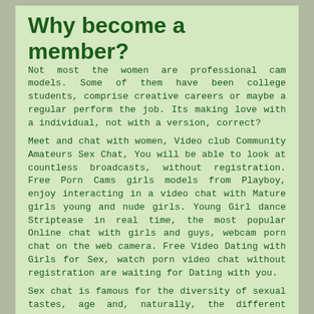Why become a member?
Not most the women are professional cam models. Some of them have been college students, comprise creative careers or maybe a regular perform the job. Its making love with a individual, not with a version, correct?
Meet and chat with women, Video club Community Amateurs Sex Chat, You will be able to look at countless broadcasts, without registration. Free Porn Cams girls models from Playboy, enjoy interacting in a video chat with Mature girls young and nude girls. Young Girl dance Striptease in real time, the most popular Online chat with girls and guys, webcam porn chat on the web camera. Free Video Dating with Girls for Sex, watch porn video chat without registration are waiting for Dating with you.
Sex chat is famous for the diversity of sexual tastes, age and, naturally, the different beauties of the appearance. You are always welcome here and reckless lesbian girls, from early morning till night engaged with each other intimate pleasures, using all kinds of toys from the sex shop, and ready at any time. Here you will be able to participate in even two